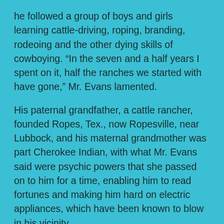he followed a group of boys and girls learning cattle-driving, roping, branding, rodeoing and the other dying skills of cowboying. “In the seven and a half years I spent on it, half the ranches we started with have gone,” Mr. Evans lamented.
His paternal grandfather, a cattle rancher, founded Ropes, Tex., now Ropesville, near Lubbock, and his maternal grandmother was part Cherokee Indian, with what Mr. Evans said were psychic powers that she passed on to him for a time, enabling him to read fortunes and making him hard on electric appliances, which have been known to blow in his vicinity.
He was brought up — “or more properly kicked up” as he wrote in “The Hi-Lo Country” — by old-time cowboys, whose own roots reached back to the 1880’s. On a ranch near Santa Fe he found, of all things, a bookshelf of Balzac, a life-transforming experience. “To me he was